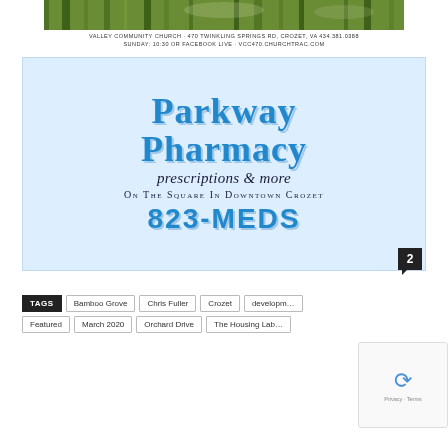[Figure (photo): Top portion of a nature/outdoor photo showing bamboo or tall grass with green tones]
VALLEY COMMUNITY CHURCH · 470 TWINKLING SPRINGS RD, CROZET, VA 434.381.0388
SUNDAY: 10:30 OR FACEBOOK LIVE · VCC470.CHURCHTRAC.COM
[Figure (illustration): Parkway Pharmacy advertisement with light blue background. Shows 'PARKWAY PHARMACY' in large blue serif bold text, 'prescriptions & more' in italic script, 'On The Square In Downtown Crozet' in small caps, and '823-MEDS' in large blue bold text.]
TAGS  Bamboo Grove  Chris Fuller  Crozet  development  Featured  March 2020  Orchard Drive  The Housing Lab